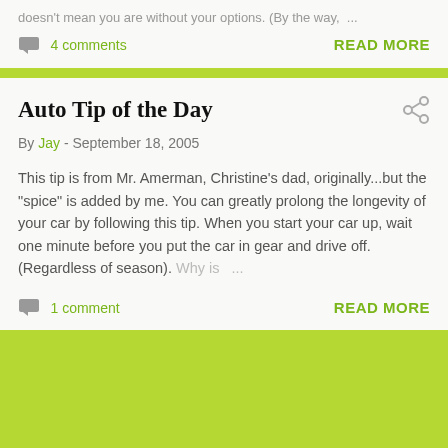doesn't mean you are without your options. (By the way, …
4 comments
READ MORE
Auto Tip of the Day
By Jay - September 18, 2005
This tip is from Mr. Amerman, Christine's dad, originally...but the "spice" is added by me. You can greatly prolong the longevity of your car by following this tip. When you start your car up, wait one minute before you put the car in gear and drive off. (Regardless of season). Why is …
1 comment
READ MORE